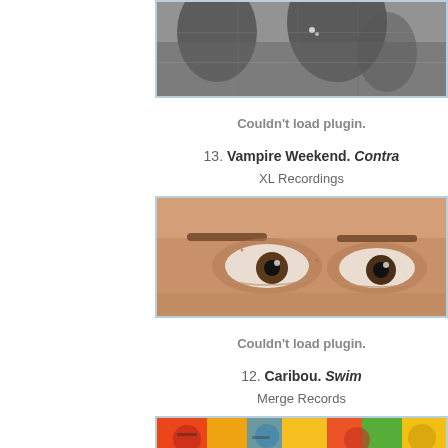[Figure (photo): Black and white photo, partially cropped at top, showing figures in dark clothing]
Couldn't load plugin.
13. Vampire Weekend. Contra
XL Recordings
[Figure (photo): Close-up color photo of a person's eyes, cropped tightly showing forehead to nose area]
Couldn't load plugin.
12. Caribou. Swim
Merge Records
[Figure (photo): Colorful album art partially visible at bottom of page]